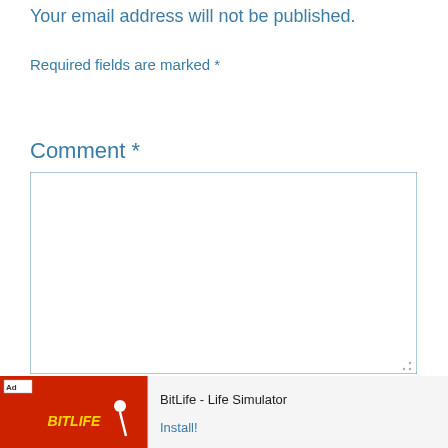Your email address will not be published.
Required fields are marked *
Comment *
[Figure (screenshot): Empty comment textarea input box with a resize handle in the bottom-right corner]
Name *
[Figure (screenshot): Advertisement banner for BitLife - Life Simulator app with red banner image, Ad label, app title, and Install button. X close button on the right.]